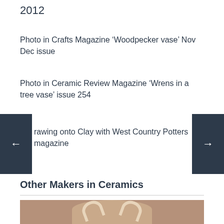2012
Photo in Crafts Magazine ‘Woodpecker vase’ Nov Dec issue
Photo in Ceramic Review Magazine ‘Wrens in a tree vase’ issue 254
rawing onto Clay with West Country Potters magazine
Other Makers in Ceramics
[Figure (photo): A ceramic sculpture, top view showing antler-like handles on a rounded vessel, photographed against a neutral grey-brown background.]